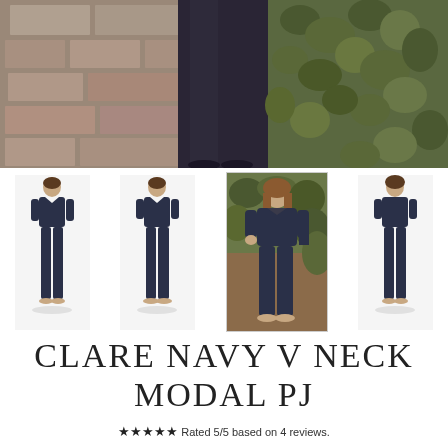[Figure (photo): Large cropped photo of a model wearing navy pajama pants, standing in front of a stone wall with ivy. Only the lower half of the body is visible.]
[Figure (photo): Four thumbnail images of a woman wearing the Clare Navy V Neck Modal PJ set (navy top and pants) from different angles: front studio, front studio, outdoor lifestyle with ivy background, and back studio.]
CLARE NAVY V NECK MODAL PJ
★★★★★ Rated 5/5 based on 4 reviews.